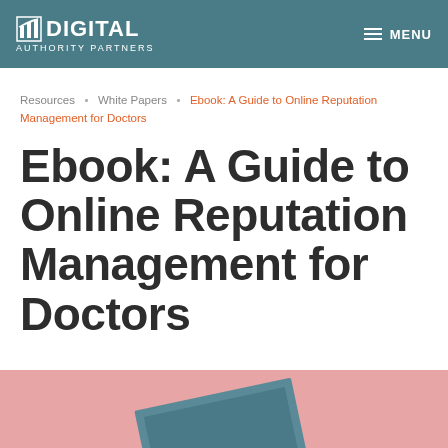DIGITAL AUTHORITY PARTNERS  MENU
Resources • White Papers • Ebook: A Guide to Online Reputation Management for Doctors
Ebook: A Guide to Online Reputation Management for Doctors
[Figure (photo): Partial view of a book or ebook cover with a teal/blue color and pink background, shown at an angle at the bottom of the page]